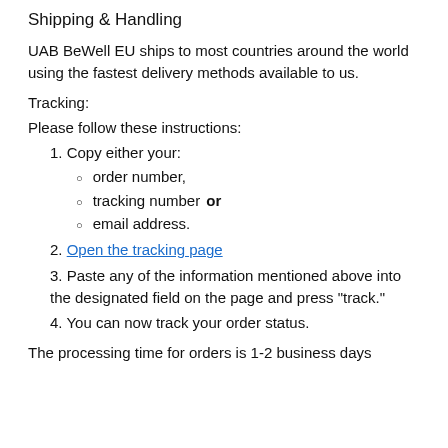Shipping & Handling
UAB BeWell EU ships to most countries around the world using the fastest delivery methods available to us.
Tracking:
Please follow these instructions:
1. Copy either your:
order number,
tracking number or
email address.
2. Open the tracking page
3. Paste any of the information mentioned above into the designated field on the page and press "track."
4. You can now track your order status.
The processing time for orders is 1-2 business days